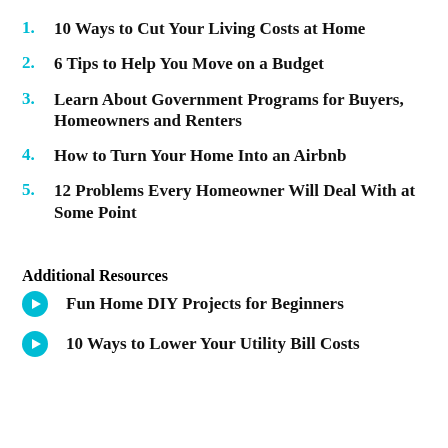1. 10 Ways to Cut Your Living Costs at Home
2. 6 Tips to Help You Move on a Budget
3. Learn About Government Programs for Buyers, Homeowners and Renters
4. How to Turn Your Home Into an Airbnb
5. 12 Problems Every Homeowner Will Deal With at Some Point
Additional Resources
Fun Home DIY Projects for Beginners
10 Ways to Lower Your Utility Bill Costs